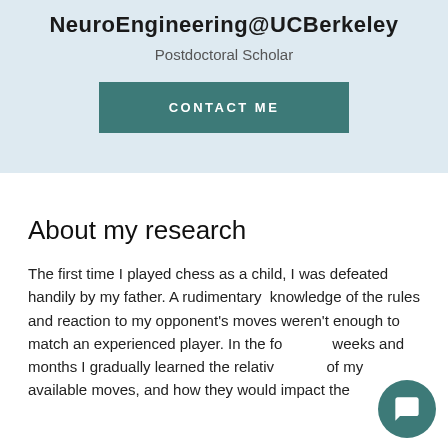NeuroEngineering@UCBerkeley
Postdoctoral Scholar
CONTACT ME
About my research
The first time I played chess as a child, I was defeated handily by my father. A rudimentary knowledge of the rules and reaction to my opponent's moves weren't enough to match an experienced player. In the following weeks and months I gradually learned the relative value of my available moves, and how they would impact the